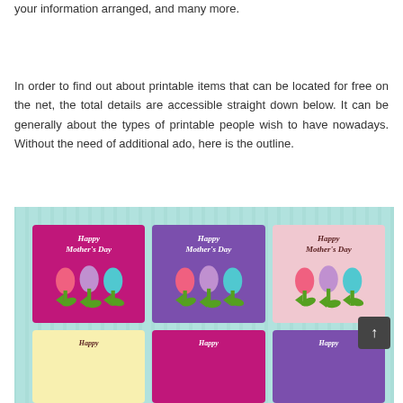your information arranged, and many more.
In order to find out about printable items that can be located for free on the net, the total details are accessible straight down below. It can be generally about the types of printable people wish to have nowadays. Without the need of additional ado, here is the outline.
[Figure (photo): Six Happy Mother's Day greeting cards arranged in a 3x2 grid on a teal background. Cards feature tulip flowers and 'Happy Mother's Day' text in various color schemes: magenta, purple, pink/light, yellow, magenta, and purple.]